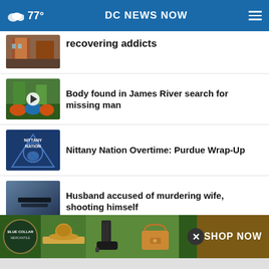77° DC NEWS NOW
recovering addicts
Body found in James River search for missing man
Nittany Nation Overtime: Purdue Wrap-Up
Husband accused of murdering wife, shooting himself
School baptizes 100 kids without parents' permission
Man charged in jogger abduction
[Figure (screenshot): Advertisement banner: Blue Collar merchandise with cowboy hat, boots, handbag, SHOP NOW button]